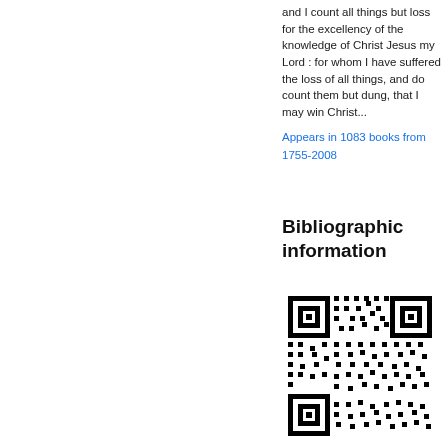and I count all things but loss for the excellency of the knowledge of Christ Jesus my Lord : for whom I have suffered the loss of all things, and do count them but dung, that I may win Christ...
Appears in 1083 books from 1755-2008
Bibliographic information
[Figure (other): QR code for bibliographic information]